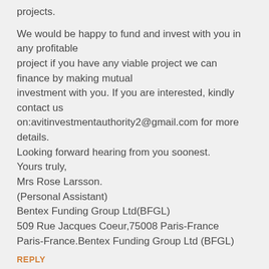projects.
We would be happy to fund and invest with you in any profitable project if you have any viable project we can finance by making mutual investment with you. If you are interested, kindly contact us on:avitinvestmentauthority2@gmail.com for more details.
Looking forward hearing from you soonest.
Yours truly,
Mrs Rose Larsson.
(Personal Assistant)
Bentex Funding Group Ltd(BFGL)
509 Rue Jacques Coeur,75008 Paris-France
Paris-France.Bentex Funding Group Ltd (BFGL)
REPLY
Anonymous · February 27, 2019 at 7:12 PM